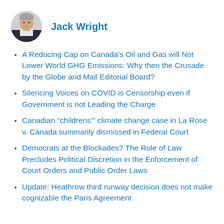[Figure (photo): Circular headshot portrait of Jack Wright, a middle-aged man in a dark jacket]
Jack Wright
A Reducing Cap on Canada's Oil and Gas will Not Lower World GHG Emissions: Why then the Crusade by the Globe and Mail Editorial Board?
Silencing Voices on COVID is Censorship even if Government is not Leading the Charge
Canadian “childrens'” climate change case in La Rose v. Canada summarily dismissed in Federal Court
Democrats at the Blockades? The Rule of Law Precludes Political Discretion in the Enforcement of Court Orders and Public Order Laws
Update: Heathrow third runway decision does not make cognizable the Paris Agreement